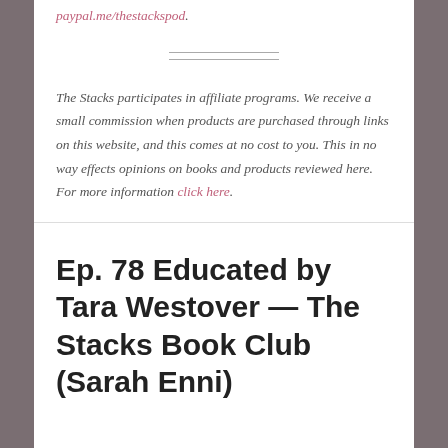paypal.me/thestackspod.
The Stacks participates in affiliate programs. We receive a small commission when products are purchased through links on this website, and this comes at no cost to you. This in no way effects opinions on books and products reviewed here. For more information click here.
Ep. 78 Educated by Tara Westover — The Stacks Book Club (Sarah Enni)